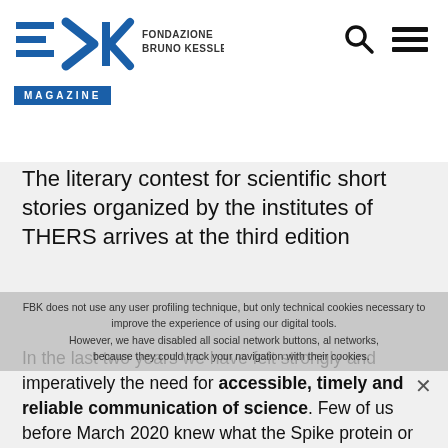FONDAZIONE BRUNO KESSLER MAGAZINE
The literary contest for scientific short stories organized by the institutes of THERS arrives at the third edition
FBK does not use any user profiling technique, but only technical cookies necessary to improve the experience of using our digital tools. However, we have disabled all social network buttons because they could track your navigation with their cookies.
In the last two years we have felt strongly and imperatively the need for accessible, timely and reliable communication of science. Few of us before March 2020 knew what the Spike protein or a coronavirus are or how a vaccine works and unfortunately many